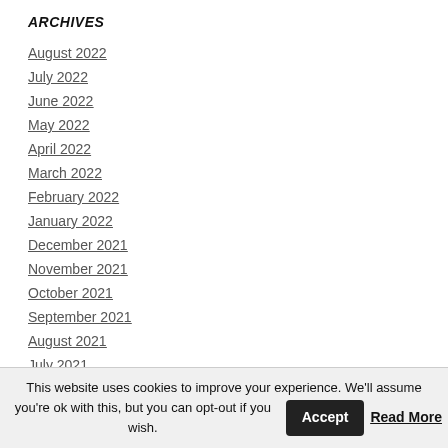ARCHIVES
August 2022
July 2022
June 2022
May 2022
April 2022
March 2022
February 2022
January 2022
December 2021
November 2021
October 2021
September 2021
August 2021
July 2021
This website uses cookies to improve your experience. We'll assume you're ok with this, but you can opt-out if you wish. Accept Read More